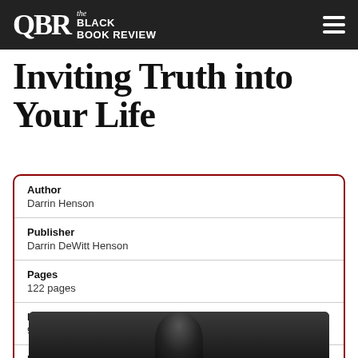QBR the BLACK BOOK REVIEW
Inviting Truth into Your Life
| Field | Value |
| --- | --- |
| Author | Darrin Henson |
| Publisher | Darrin DeWitt Henson |
| Pages | 122 pages |
| ISBN | 9780615932989 |
| Purchase |  |
[Figure (photo): Dark photo of a person, partially visible at the bottom of the page]